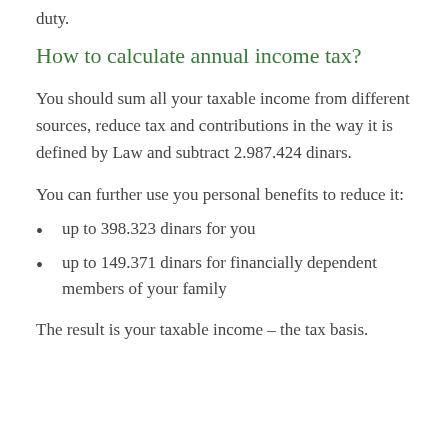duty.
How to calculate annual income tax?
You should sum all your taxable income from different sources, reduce tax and contributions in the way it is defined by Law and subtract 2.987.424 dinars.
You can further use you personal benefits to reduce it:
up to 398.323 dinars for you
up to 149.371 dinars for financially dependent members of your family
The result is your taxable income – the tax basis.